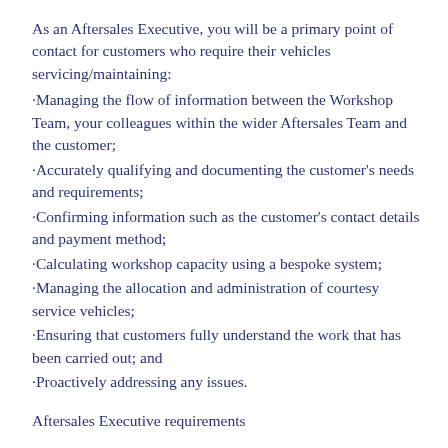As an Aftersales Executive, you will be a primary point of contact for customers who require their vehicles servicing/maintaining:
·Managing the flow of information between the Workshop Team, your colleagues within the wider Aftersales Team and the customer;
·Accurately qualifying and documenting the customer's needs and requirements;
·Confirming information such as the customer's contact details and payment method;
·Calculating workshop capacity using a bespoke system;
·Managing the allocation and administration of courtesy service vehicles;
·Ensuring that customers fully understand the work that has been carried out; and
·Proactively addressing any issues.
Aftersales Executive requirements